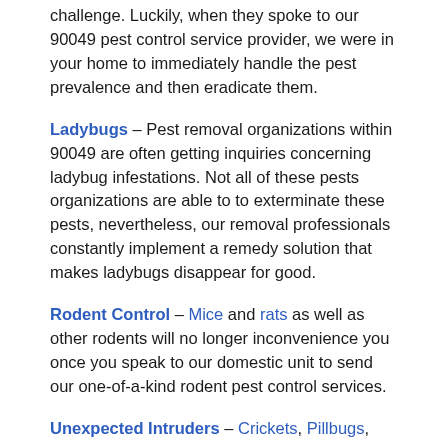challenge. Luckily, when they spoke to our 90049 pest control service provider, we were in your home to immediately handle the pest prevalence and then eradicate them.
Ladybugs – Pest removal organizations within 90049 are often getting inquiries concerning ladybug infestations. Not all of these pests organizations are able to to exterminate these pests, nevertheless, our removal professionals constantly implement a remedy solution that makes ladybugs disappear for good.
Rodent Control – Mice and rats as well as other rodents will no longer inconvenience you once you speak to our domestic unit to send our one-of-a-kind rodent pest control services.
Unexpected Intruders – Crickets, Pillbugs,